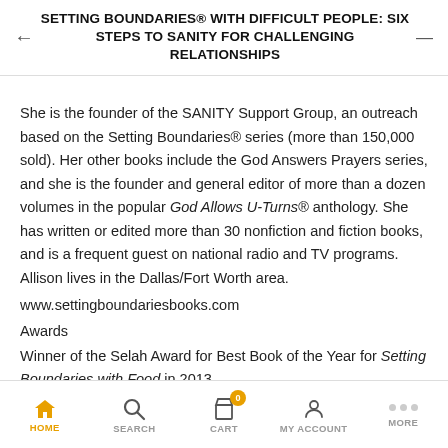SETTING BOUNDARIES® WITH DIFFICULT PEOPLE: SIX STEPS TO SANITY FOR CHALLENGING RELATIONSHIPS
She is the founder of the SANITY Support Group, an outreach based on the Setting Boundaries® series (more than 150,000 sold). Her other books include the God Answers Prayers series, and she is the founder and general editor of more than a dozen volumes in the popular God Allows U-Turns® anthology. She has written or edited more than 30 nonfiction and fiction books, and is a frequent guest on national radio and TV programs. Allison lives in the Dallas/Fort Worth area.
www.settingboundariesbooks.com
Awards
Winner of the Selah Award for Best Book of the Year for Setting Boundaries with Food in 2013
"About this title" may belong to another edition of this title.
HOME  SEARCH  CART  MY ACCOUNT  MORE